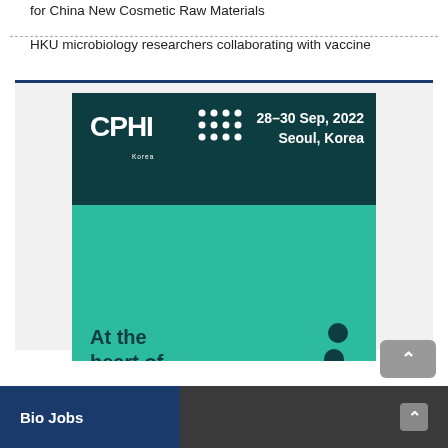for China New Cosmetic Raw Materials
HKU microbiology researchers collaborating with vaccine
[Figure (illustration): CPHI Korea 2022 advertisement banner. Dark teal top section with CPHI Korea logo and text '28-30 Sep, 2022 Seoul, Korea'. Teal bottom section with text 'At the heart of Pharma' and abstract pill/person icons. Dark button 'Pre-Register for FREE NOW'.]
Bio Jobs